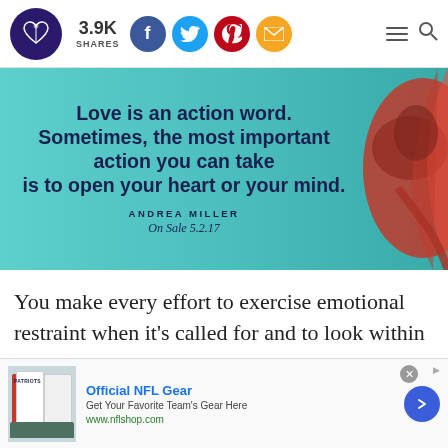3.9K SHARES
[Figure (illustration): Book promotional banner on teal background with quote 'Love is an action word. Sometimes, the most important action you can take is to open your heart or your mind.' by ANDREA MILLER On Sale 5.2.17, with red rope heart decoration on right]
You make every effort to exercise emotional restraint when it's called for and to look within
[Figure (screenshot): Ad banner for Official NFL Gear with NFL jerseys image, text 'Get Your Favorite Team's Gear Here' and www.nflshop.com URL]